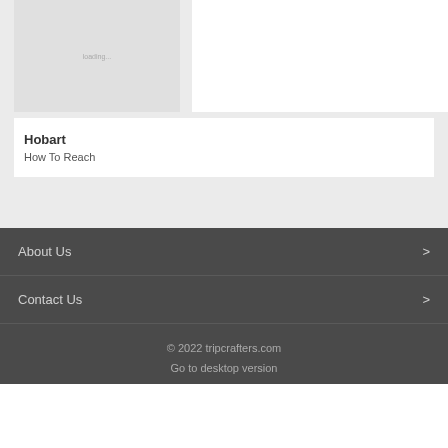[Figure (screenshot): A card placeholder image showing loading text on a light gray background]
Hobart
How To Reach
About Us >
Contact Us >
© 2022 tripcrafters.com
Go to desktop version